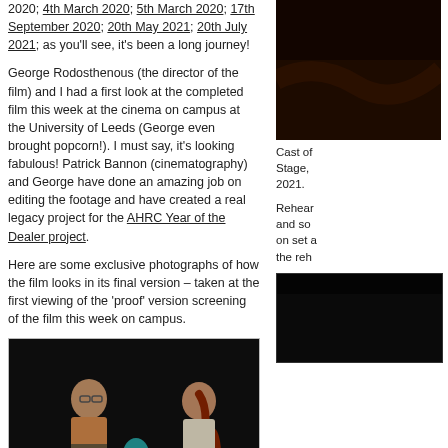2020; 4th March 2020; 5th March 2020; 17th September 2020; 20th May 2021; 20th July 2021; as you'll see, it's been a long journey!
George Rodosthenous (the director of the film) and I had a first look at the completed film this week at the cinema on campus at the University of Leeds (George even brought popcorn!). I must say, it's looking fabulous! Patrick Bannon (cinematography) and George have done an amazing job on editing the footage and have created a real legacy project for the AHRC Year of the Dealer project.
Here are some exclusive photographs of how the film looks in its final version – taken at the first viewing of the 'proof' version screening of the film this week on campus.
[Figure (photo): Two actors on a dark stage — a man in glasses and a woman with a red braid, facing each other, with a glowing bust sculpture between them on a small table.]
[Figure (photo): Dark reddish-brown theatrical backdrop or surface, partial view.]
Cast of... Stage,... 2021.
Rehear... and so... on set a... the reh...
[Figure (photo): Dark stage or set image, partially visible at bottom right.]